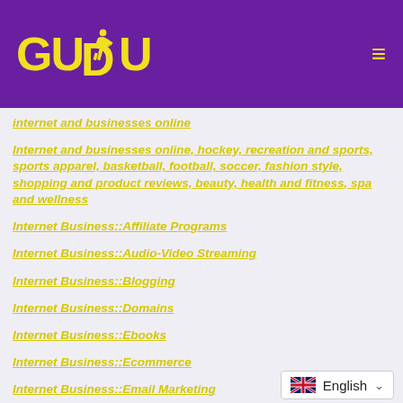[Figure (logo): GUDU logo with runner icon in yellow on purple background, with hamburger menu icon on the right]
internet and businesses online
Internet and businesses online, hockey, recreation and sports, sports apparel, basketball, football, soccer, fashion style, shopping and product reviews, beauty, health and fitness, spa and wellness
Internet Business::Affiliate Programs
Internet Business::Audio-Video Streaming
Internet Business::Blogging
Internet Business::Domains
Internet Business::Ebooks
Internet Business::Ecommerce
Internet Business::Email Marketing
Internet Business::Ezine Publishing
Internet Business::Internet Marketing
[Figure (other): Language selector showing UK flag and English with dropdown chevron]